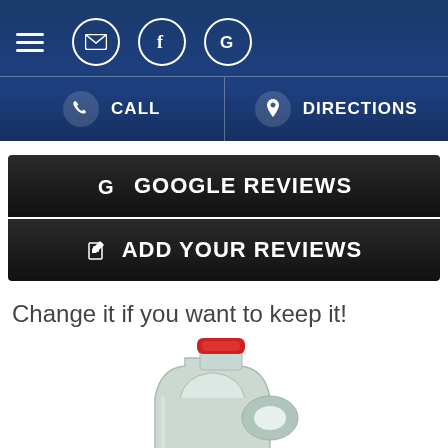Navigation bar with hamburger menu, email, Facebook, and Google icons, and CALL / DIRECTIONS buttons
G GOOGLE REVIEWS
✎ ADD YOUR REVIEWS
Change it if you want to keep it!
[Figure (photo): A white plastic jerry can / jug with a red cap, partially visible at bottom of page]